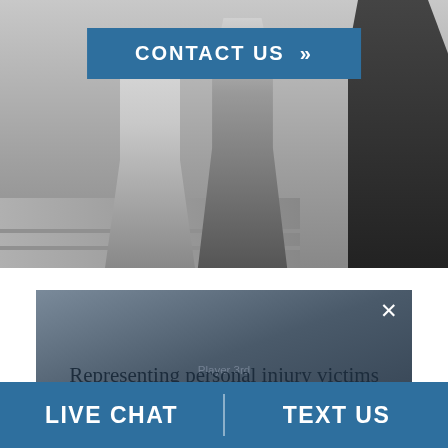[Figure (photo): Grayscale photo of people from waist down, standing on steps, with a 'CONTACT US »' button overlay in a blue rectangle]
[Figure (screenshot): Modal overlay box with gradient dark blue-gray background showing text 'Representing personal injury victims in Princeton, Minnesota' with a ghost/transparent 'Player card' text behind it and a white X close button in the top right]
LIVE CHAT
TEXT US